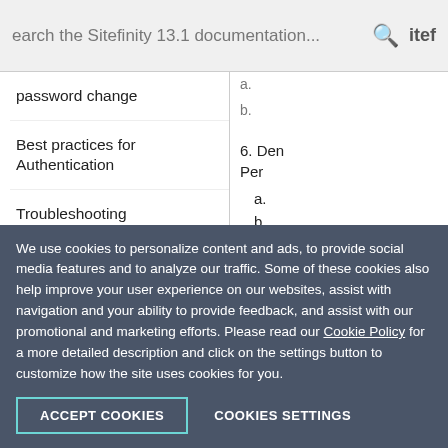Search the Sitefinity 13.1 documentation...
password change
Best practices for Authentication
Troubleshooting Authentication
6. Den... Per... a. b.
We use cookies to personalize content and ads, to provide social media features and to analyze our traffic. Some of these cookies also help improve your user experience on our websites, assist with navigation and your ability to provide feedback, and assist with our promotional and marketing efforts. Please read our Cookie Policy for a more detailed description and click on the settings button to customize how the site uses cookies for you.